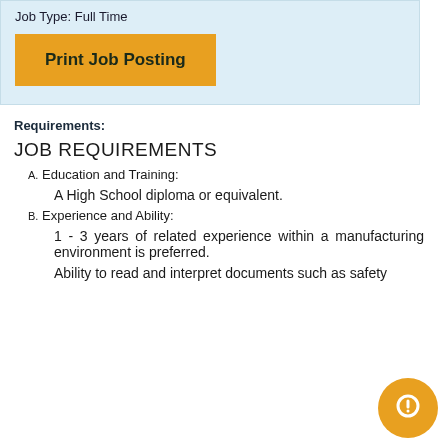Job Type: Full Time
Print Job Posting
Requirements:
JOB REQUIREMENTS
A. Education and Training:
A High School diploma or equivalent.
B. Experience and Ability:
1 - 3 years of related experience within a manufacturing environment is preferred.
Ability to read and interpret documents such as safety